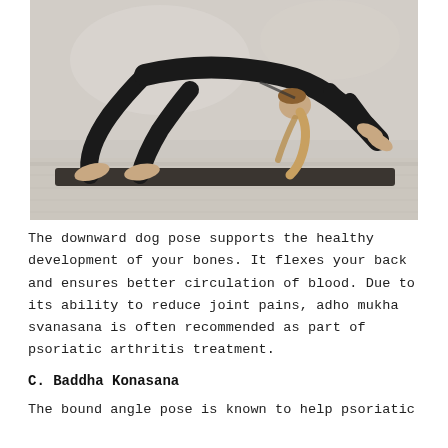[Figure (photo): Woman in black outfit performing downward dog yoga pose (adho mukha svanasana) on a dark yoga mat on a light wooden floor, against a white/grey wall background.]
The downward dog pose supports the healthy development of your bones. It flexes your back and ensures better circulation of blood. Due to its ability to reduce joint pains, adho mukha svanasana is often recommended as part of psoriatic arthritis treatment.
C. Baddha Konasana
The bound angle pose is known to help psoriatic